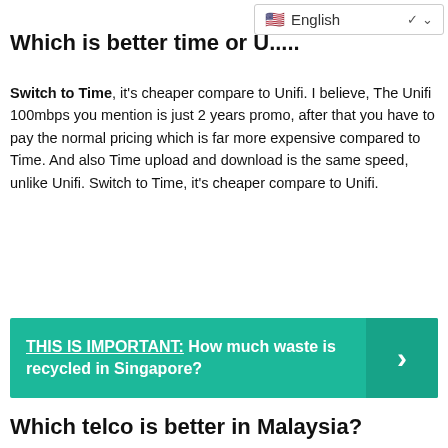[Figure (screenshot): Language selector dropdown showing US flag and 'English' text with chevron]
Which is better time or U.....
Switch to Time, it's cheaper compare to Unifi. I believe, The Unifi 100mbps you mention is just 2 years promo, after that you have to pay the normal pricing which is far more expensive compared to Time. And also Time upload and download is the same speed, unlike Unifi. Switch to Time, it's cheaper compare to Unifi.
THIS IS IMPORTANT:  How much waste is recycled in Singapore?
Which telco is better in Malaysia?
most of the time. From the chart above, we can see that Unifi and Celcom have the highest 4G availability with the coverage consistency of 89.6% and 89.4% of all time. Celcom also got an award before for a telco with the best 4G availability in Malaysia.